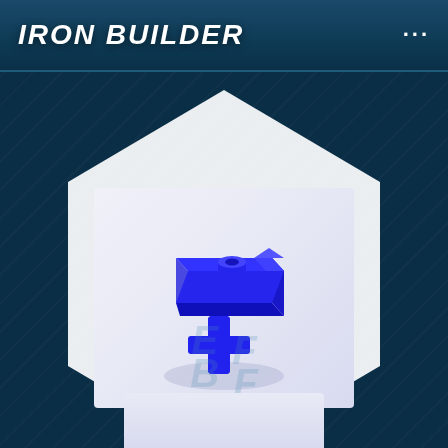IRON BUILDER
[Figure (photo): A blue LEGO-style plastic piece resembling a key or clip component, photographed on a white-to-light-blue gradient background inside a white hexagonal frame. The piece is a small rectangular plate with a stud on top and a cross-shaped key stem at the bottom, all in bright blue plastic.]
E F B F (watermark letters, partially visible)